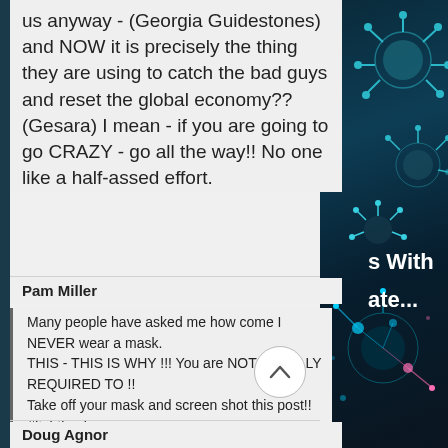us anyway - (Georgia Guidestones) and NOW it is precisely the thing they are using to catch the bad guys and reset the global economy?? (Gesara) I mean - if you are going to go CRAZY - go all the way!! No one like a half-assed effort.
Pam Miller
Many people have asked me how come I NEVER wear a mask.
THIS - THIS IS WHY !!! You are NOT LEGALLY REQUIRED TO !!
Take off your mask and screen shot this post!! #fightback
via Kirks Law Corner FB
Doug Agnor
[Figure (illustration): Teal/cyan colored virus particle illustrations on dark blue background, right side panel, split into top and bottom sections]
s With
ate...